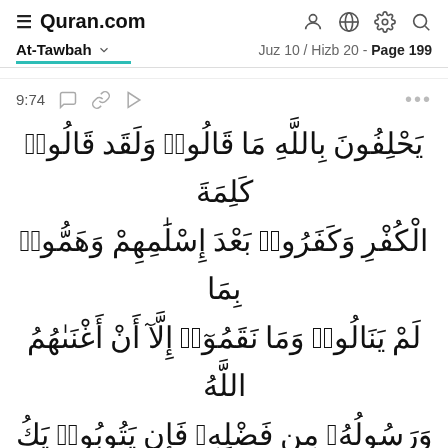≡ Quran.com
At-Tawbah  Juz 10 / Hizb 20 - Page 199
9:74
يَحْلِفُونَ بِاللَّهِ مَا قَالُوا۟ وَلَقَد قَالُوا۟ كَلِمَةَ الْكُفْرِ وَكَفَرُوا۟ بَعْدَ إِسْلَٰمِهِمْ وَهَمُّوا۟ بِمَا لَمْ يَنَالُوا۟ ۚ وَمَا نَقَمُوٓا۟ إِلَّآ أَنْ أَغْنَىٰهُمُ اللَّهُ وَرَسُولُهُۥ مِن فَضْلِهِۦ ۚ فَإِن يَتُوبُوا۟ يَكُ خَيْرًا لَّهُمْ